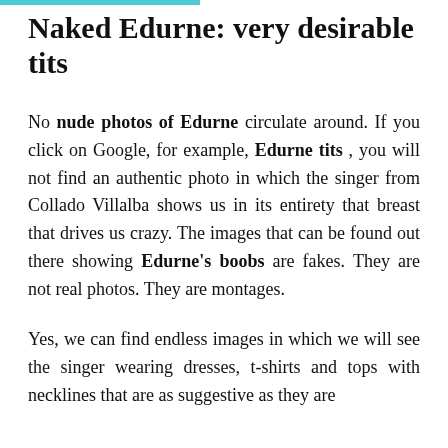Naked Edurne: very desirable tits
No nude photos of Edurne circulate around. If you click on Google, for example, Edurne tits , you will not find an authentic photo in which the singer from Collado Villalba shows us in its entirety that breast that drives us crazy. The images that can be found out there showing Edurne's boobs are fakes. They are not real photos. They are montages.
Yes, we can find endless images in which we will see the singer wearing dresses, t-shirts and tops with necklines that are as suggestive as they are